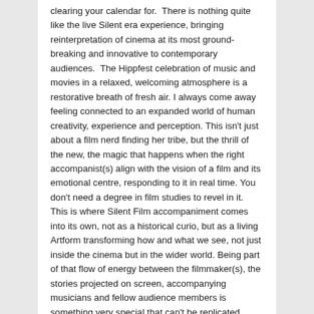clearing your calendar for.  There is nothing quite like the live Silent era experience, bringing reinterpretation of cinema at its most ground-breaking and innovative to contemporary audiences.  The Hippfest celebration of music and movies in a relaxed, welcoming atmosphere is a restorative breath of fresh air. I always come away feeling connected to an expanded world of human creativity, experience and perception. This isn't just about a film nerd finding her tribe, but the thrill of the new, the magic that happens when the right accompanist(s) align with the vision of a film and its emotional centre, responding to it in real time. You don't need a degree in film studies to revel in it.  This is where Silent Film accompaniment comes into its own, not as a historical curio, but as a living Artform transforming how and what we see, not just inside the cinema but in the wider world. Being part of that flow of energy between the filmmaker(s), the stories projected on screen, accompanying musicians and fellow audience members is something very special that can't be replicated anywhere else in the digital world.